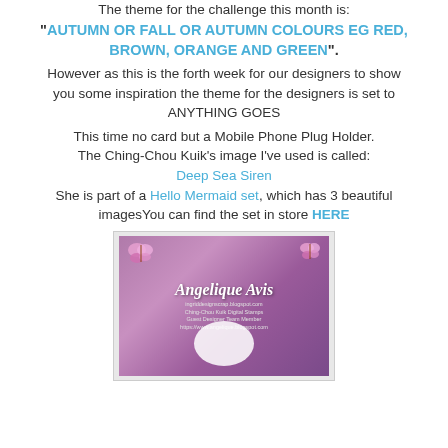The theme for the challenge this month is:
"AUTUMN OR FALL OR AUTUMN COLOURS EG RED, BROWN, ORANGE AND GREEN".
However as this is the forth week for our designers to show you some inspiration the theme for the designers is set to ANYTHING GOES
This time no card but a Mobile Phone Plug Holder.
The Ching-Chou Kuik's image I've used is called:
Deep Sea Siren
She is part of a Hello Mermaid set, which has 3 beautiful imagesYou can find the set in store HERE
[Figure (photo): Photo of a purple/pink card with Angelique Avis branding text, butterflies, and a white oval cutout]